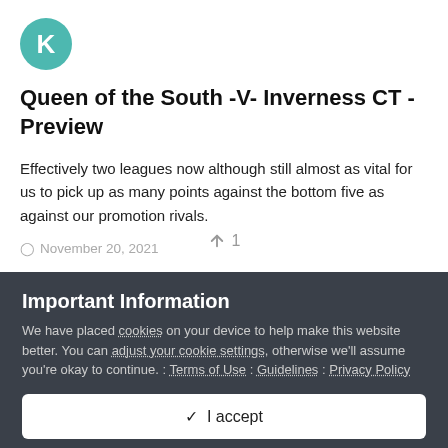[Figure (illustration): Teal circular avatar with white letter K]
Queen of the South -V- Inverness CT - Preview
Effectively two leagues now although still almost as vital for us to pick up as many points against the bottom five as against our promotion rivals.
November 20, 2021
↑ 1
Important Information
We have placed cookies on your device to help make this website better. You can adjust your cookie settings, otherwise we'll assume you're okay to continue. : Terms of Use : Guidelines : Privacy Policy
✓  I accept